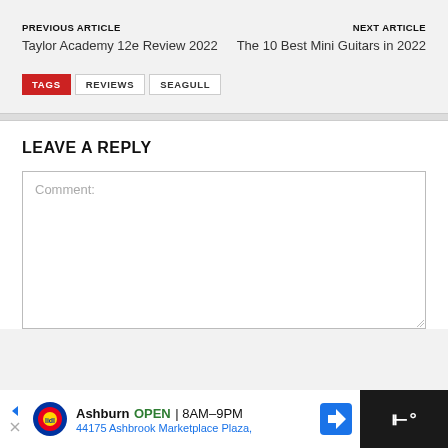PREVIOUS ARTICLE
Taylor Academy 12e Review 2022
NEXT ARTICLE
The 10 Best Mini Guitars in 2022
TAGS  REVIEWS  SEAGULL
LEAVE A REPLY
Comment:
[Figure (other): Advertisement bar: Lidl store - Ashburn OPEN 8AM-9PM, 44175 Ashbrook Marketplace Plaza,]